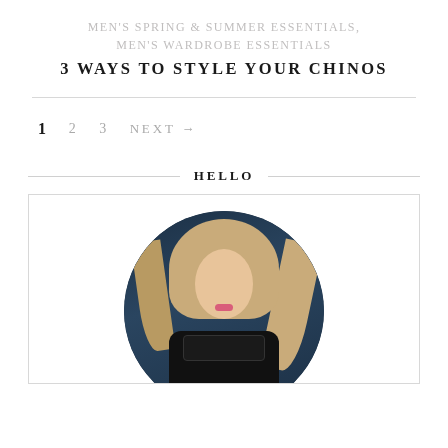MEN'S SPRING & SUMMER ESSENTIALS, MEN'S WARDROBE ESSENTIALS
3 WAYS TO STYLE YOUR CHINOS
1  2  3  NEXT →
HELLO
[Figure (photo): Circular portrait photo of a blonde woman with long straight hair, wearing a dark top, against a dark navy background.]